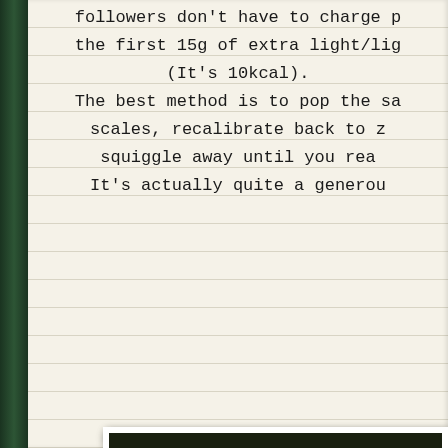followers don't have to charge p the first 15g of extra light/lig (It's 10kcal). The best method is to pop the sa scales, recalibrate back to z squiggle away until you rea It's actually quite a generou
[Figure (photo): A close-up photo of a salad bowl with colorful vegetables including red peppers, green vegetables, cucumbers, and topped with strips of flatbread or tortilla chips seasoned with black pepper and drizzled with white sauce]